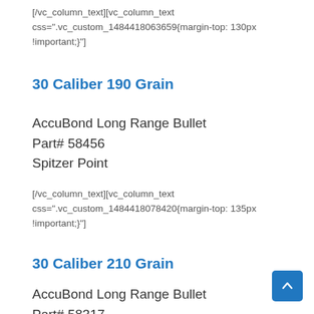[/vc_column_text][vc_column_text css=".vc_custom_1484418063659{margin-top: 130px !important;}"]
30 Caliber 190 Grain
AccuBond Long Range Bullet
Part# 58456
Spitzer Point
[/vc_column_text][vc_column_text css=".vc_custom_1484418078420{margin-top: 135px !important;}"]
30 Caliber 210 Grain
AccuBond Long Range Bullet
Part# 58317